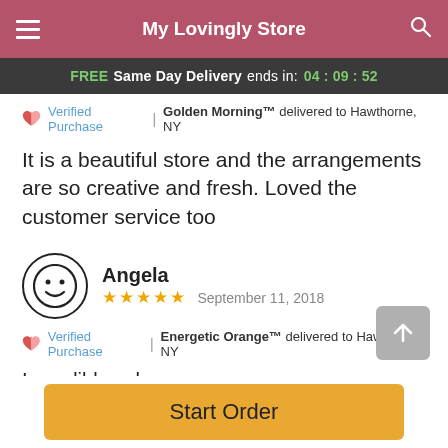My Lovingly Store
FREE Same Day Delivery ends in: 04 : 09 : 52
Verified Purchase | Golden Morning™ delivered to Hawthorne, NY
It is a beautiful store and the arrangements are so creative and fresh. Loved the customer service too
Angela
★★★★★ September 11, 2018
Verified Purchase | Energetic Orange™ delivered to Hawthorne, NY
Incredible value
Reviews Sourced from Lovingly
Start Order